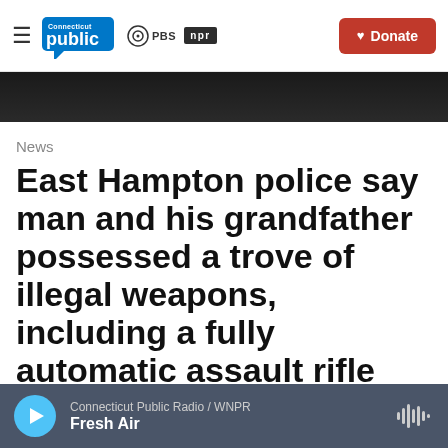Connecticut Public / PBS / NPR — Donate
[Figure (photo): Dark background image strip, partially visible]
News
East Hampton police say man and his grandfather possessed a trove of illegal weapons, including a fully automatic assault rifle
Jeff Selner · May 19, 2023
Connecticut Public Radio / WNPR — Fresh Air